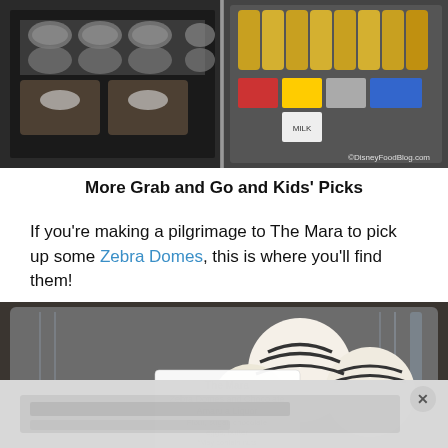[Figure (photo): Two side-by-side photos showing grab and go food items: left shows dessert cups in a display case, right shows a vending machine with drinks and snacks. Watermark reads ©DisneyFoodBlog.com]
More Grab and Go and Kids' Picks
If you're making a pilgrimage to The Mara to pick up some Zebra Domes, this is where you'll find them!
[Figure (photo): Close-up photo of a clear plastic container holding Zebra Domes (white chocolate balls with dark chocolate stripes). A label reads: The Mara / Zebra Domes and Chocolate Amarula Liquor / Flour, sugar, chocolate / eggs, butter / *May contain nuts / $3.69  02/19/13 / 2901 Osceola Pwy / Baylake, Fl 32830]
[Figure (photo): Partial advertisement bar at bottom of page with blurred/obscured text and a close (X) button]